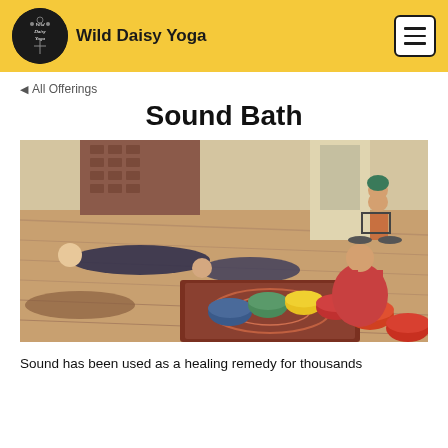Wild Daisy Yoga
◀ All Offerings
Sound Bath
[Figure (photo): Indoor sound bath session: people lying on yoga mats on a hardwood floor while a woman with red top plays colorful crystal singing bowls arranged on a patterned rug. Another person sits in a wheelchair in the background observing.]
Sound has been used as a healing remedy for thousands